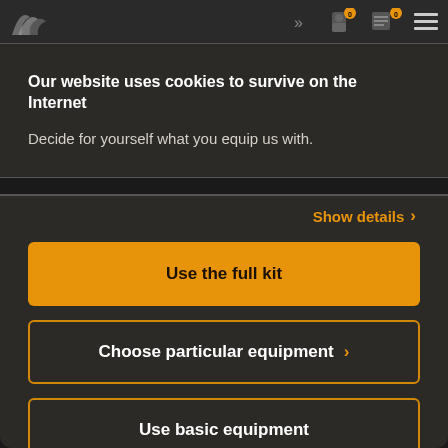[Figure (screenshot): Dark website navigation bar with logo and icons on the right including user/account icons and a hamburger menu]
Our website uses cookies to survive on the Internet
Decide for yourself what you equip us with.
Show details >
Use the full kit
Choose particular equipment >
Use basic equipment